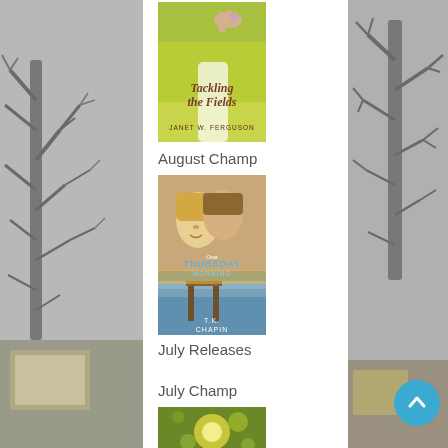[Figure (photo): Book cover: Tackling the Fields by Janet W. Ferguson — hand reaching in green field]
August Champ
[Figure (photo): Book cover: One Thursday Morning by T.K. Chapin — couple embracing, lake scene below]
July Releases
July Champ
[Figure (photo): Book cover partially visible — golden green bokeh background]
[Figure (photo): Left sidebar: grayscale winter bare trees]
[Figure (photo): Right sidebar: grayscale winter bare trees]